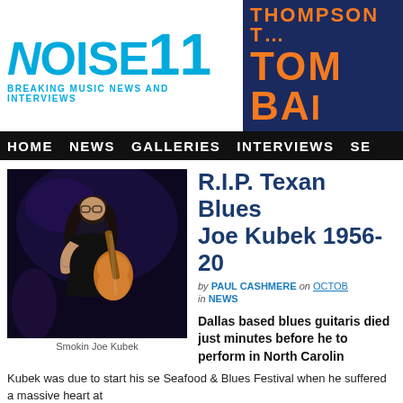[Figure (logo): Noise11 logo with tagline 'Breaking Music News and Interviews' in blue on white background]
[Figure (logo): Thompson Twin / Tom Bailey advertisement on dark blue background with orange text]
HOME NEWS GALLERIES INTERVIEWS SE
[Figure (photo): Smokin Joe Kubek playing guitar on stage, dark background, long hair]
Smokin Joe Kubek
R.I.P. Texan Blues Joe Kubek 1956-20
by PAUL CASHMERE on OCTOBE in NEWS
Dallas based blues guitaris died just minutes before he to perform in North Carolin
Kubek was due to start his se Seafood & Blues Festival when he suffered a massive heart at